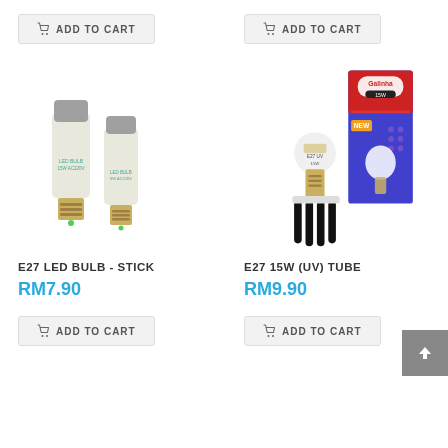[Figure (photo): ADD TO CART button for E27 LED BULB - STICK (top)]
[Figure (photo): ADD TO CART button for E27 15W (UV) TUBE (top)]
[Figure (photo): Product photo of two E27 LED Bulb - Stick type bulbs with grey tops and E27 base]
[Figure (photo): Product photo of E27 15W UV tube bulb with black tubes and product box]
E27 LED BULB - STICK
E27 15W (UV) TUBE
RM7.90
RM9.90
[Figure (photo): ADD TO CART button for E27 LED BULB - STICK (bottom)]
[Figure (photo): ADD TO CART button for E27 15W (UV) TUBE (bottom)]